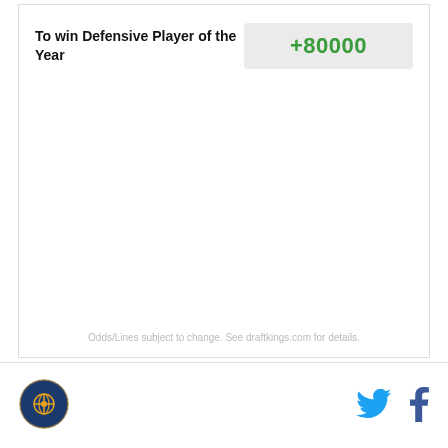| Bet Type | Odds |
| --- | --- |
| To win Defensive Player of the Year | +80000 |
Odds/Lines subject to change. See draftkings.com for details.
[Figure (logo): Sports website circular logo with basketball icon]
[Figure (logo): Twitter bird icon in blue]
[Figure (logo): Facebook f icon in dark blue]